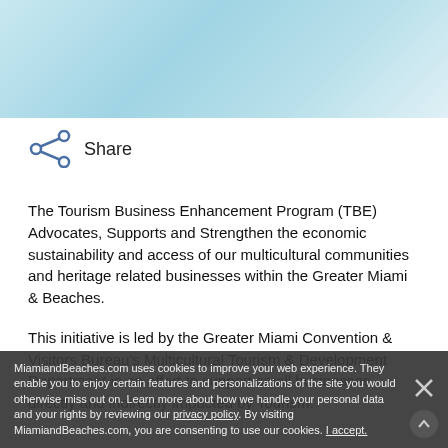[Figure (other): Light blue/teal decorative header background banner]
Share
The Tourism Business Enhancement Program (TBE) Advocates, Supports and Strengthen the economic sustainability and access of our multicultural communities and heritage related businesses within the Greater Miami & Beaches.
This initiative is led by the Greater Miami Convention & Visitors Bureau's Multicultural Tourism & Development Department in an effort to support small businesses directly and indirectly impacted by Tourism.
MiamiandBeaches.com uses cookies to improve your web experience. They enable you to enjoy certain features and personalizations of the site you would otherwise miss out on. Learn more about how we handle your personal data and your rights by reviewing our privacy policy. By visiting MiamiandBeaches.com, you are consenting to use our cookies. I accept.